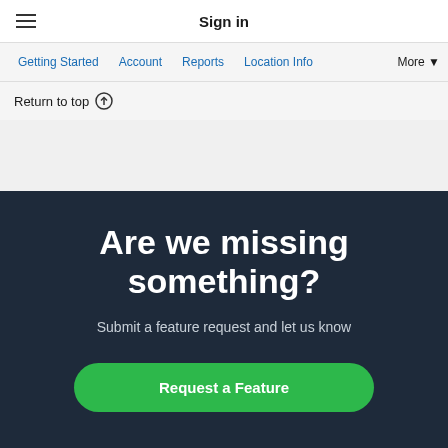Sign in
Getting Started  Account  Reports  Location Info  More ▼
Return to top ↑
Are we missing something?
Submit a feature request and let us know
Request a Feature